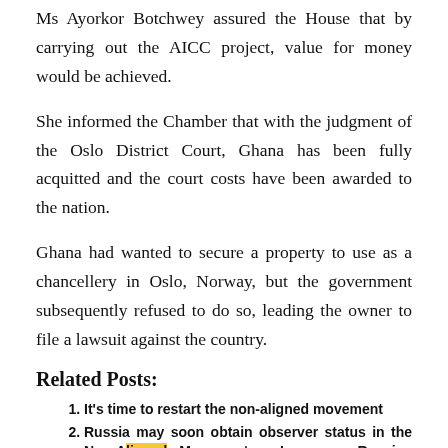Ms Ayorkor Botchwey assured the House that by carrying out the AICC project, value for money would be achieved.
She informed the Chamber that with the judgment of the Oslo District Court, Ghana has been fully acquitted and the court costs have been awarded to the nation.
Ghana had wanted to secure a property to use as a chancellery in Oslo, Norway, but the government subsequently refused to do so, leading the owner to file a lawsuit against the country.
Related Posts:
It's time to restart the non-aligned movement
Russia may soon obtain observer status in the Non-Aligned Movement – Lavrov – Russian politics and diplomacy